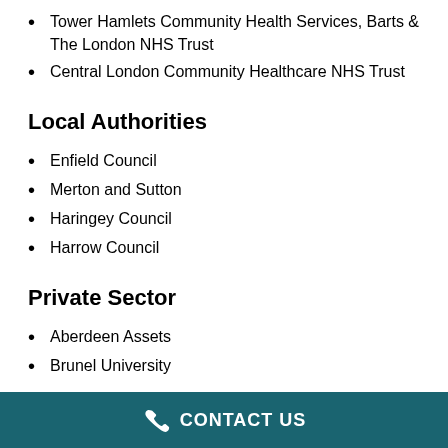Tower Hamlets Community Health Services, Barts & The London NHS Trust
Central London Community Healthcare NHS Trust
Local Authorities
Enfield Council
Merton and Sutton
Haringey Council
Harrow Council
Private Sector
Aberdeen Assets
Brunel University
CONTACT US